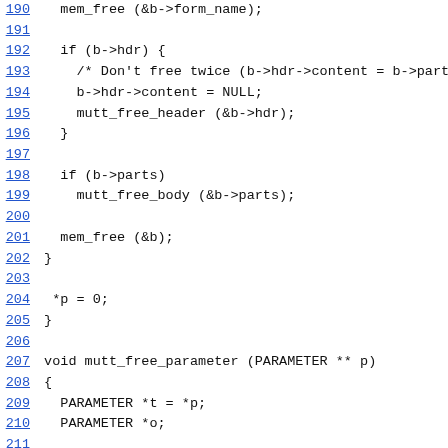190    mem_free (&b->form_name);
191
192    if (b->hdr) {
193      /* Don't free twice (b->hdr->content = b->parts) */
194      b->hdr->content = NULL;
195      mutt_free_header (&b->hdr);
196    }
197
198    if (b->parts)
199      mutt_free_body (&b->parts);
200
201    mem_free (&b);
202  }
203
204  *p = 0;
205  }
206
207  void mutt_free_parameter (PARAMETER ** p)
208  {
209    PARAMETER *t = *p;
210    PARAMETER *o;
211
212    while (t) {
213      mem_free (&t->attribute);
214      mem_free (&t->value);
215